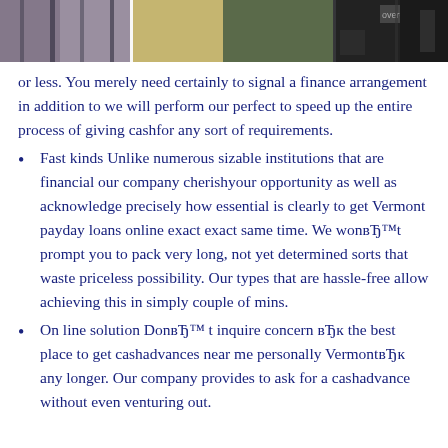[Figure (photo): Cropped photo strip showing urban/storefront scenes with people, vertical dividers between sections]
or less. You merely need certainly to signal a finance arrangement in addition to we will perform our perfect to speed up the entire process of giving cashfor any sort of requirements.
Fast kinds Unlike numerous sizable institutions that are financial our company cherishyour opportunity as well as acknowledge precisely how essential is clearly to get Vermont payday loans online exact exact same time. We wonвЂ™t prompt you to pack very long, not yet determined sorts that waste priceless possibility. Our types that are hassle-free allow achieving this in simply couple of mins.
On line solution DonвЂ™ t inquire concern вЂк the best place to get cashadvances near me personally VermontвЂк any longer. Our company provides to ask for a cashadvance without even venturing out. Do it at home, at any time is right — even their the